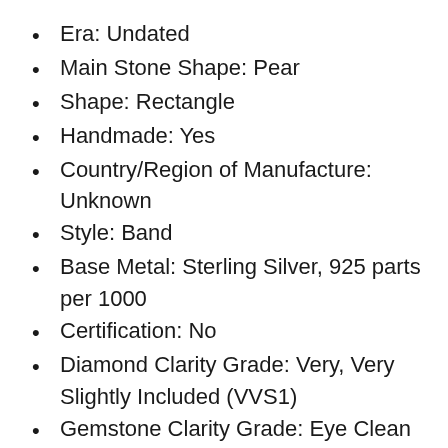Era: Undated
Main Stone Shape: Pear
Shape: Rectangle
Handmade: Yes
Country/Region of Manufacture: Unknown
Style: Band
Base Metal: Sterling Silver, 925 parts per 1000
Certification: No
Diamond Clarity Grade: Very, Very Slightly Included (VVS1)
Gemstone Clarity Grade: Eye Clean
Setting Style: Solitaire
Material: Sterling Silver
Theme: Beauty
Cut Grade: Excellent
Band Width: As Par Image
Features: Adjustable